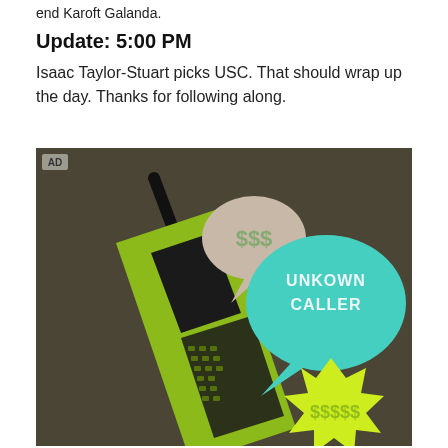end Karoft Galanda.
Update: 5:00 PM
Isaac Taylor-Stuart picks USC. That should wrap up the day. Thanks for following along.
[Figure (illustration): Advertisement illustration showing a retro green brick mobile phone with speech bubbles. One pink/beige speech bubble shows '$$$', a turquoise speech bubble reads 'UNKNOWN CALLER', and a yellow-green starburst shape shows '$$$$$'. Set against a dark olive/brown background.]